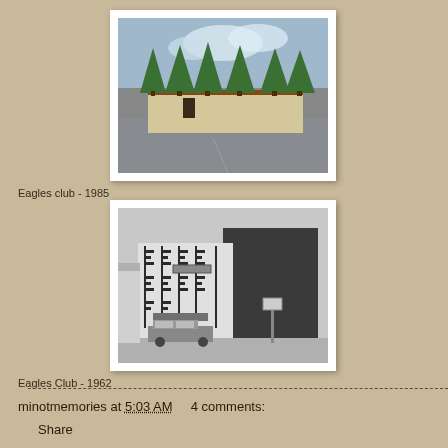[Figure (photo): Color photograph of Eagles Club building in 1985, showing a low building with large evergreen/spruce trees in front and a parking lot]
Eagles club - 1985
[Figure (photo): Black and white photograph of Eagles Club building in 1962, a multi-story building with decorative facade elements and a car parked in front]
Eagles Club - 1962
minotmemories at 5:03 AM     4 comments:
Share